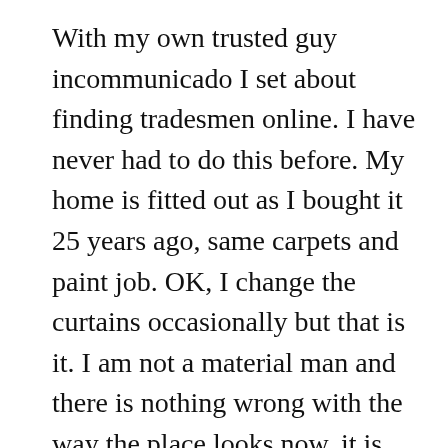With my own trusted guy incommunicado I set about finding tradesmen online. I have never had to do this before. My home is fitted out as I bought it 25 years ago, same carpets and paint job. OK, I change the curtains occasionally but that is it. I am not a material man and there is nothing wrong with the way the place looks now, it is homely and comfortable and I do not see the point in changing, if not a winning formula, at least one that isn't losing. I am happy in my own little space as I have no-one else to please. I am not knocking people in relationships, most people are, it is inherent in the human condition but I spent decades doing it and it never ended well so now I am happy with my own company in my own little private